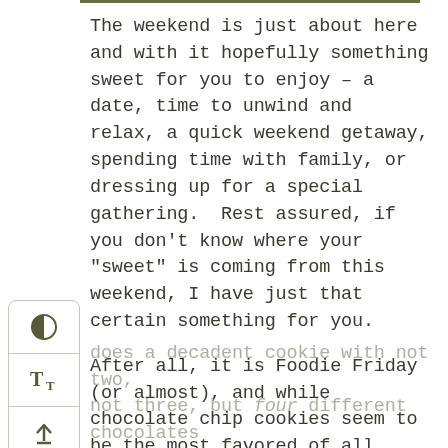The weekend is just about here and with it hopefully something sweet for you to enjoy – a date, time to unwind and relax, a quick weekend getaway, spending time with family, or dressing up for a special gathering.  Rest assured, if you don't know where your "sweet" is coming from this weekend, I have just that certain something for you.
[Figure (other): Sidebar UI widget with three icons: a contrast/half-circle icon, a text size Tt icon, and an upload/scroll-to-top arrow icon]
After all, it is Foodie Friday (or almost), and while chocolate chip cookies seem to be the most favored of all cookies, I thought I'd share something different with you that takes it up a notch.  How does a decadent cookie with not two, not three, but four different chocolates